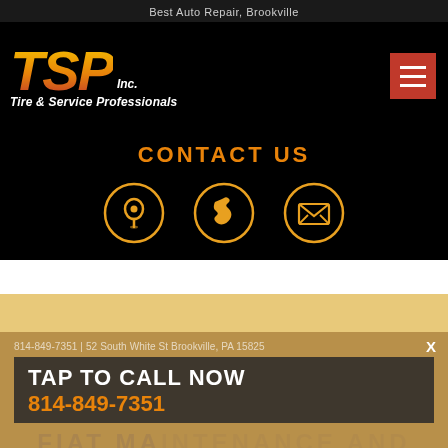Best Auto Repair, Brookville
[Figure (logo): TSP Inc. Tire & Service Professionals logo with yellow-orange-red gradient letters on black background, with red hamburger menu button in top right]
CONTACT US
[Figure (infographic): Three gold circular icons: map pin/location icon, phone handset icon, and envelope/email icon]
814-849-7351 | 52 South White St Brookville, PA 15825
TAP TO CALL NOW
814-849-7351
FIAT MAINTENANCE AND AUTO REPAIR